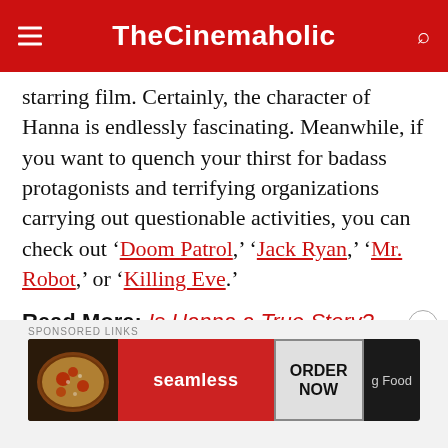TheCinemaholic
starring film. Certainly, the character of Hanna is endlessly fascinating. Meanwhile, if you want to quench your thirst for badass protagonists and terrifying organizations carrying out questionable activities, you can check out ‘Doom Patrol,’ ‘Jack Ryan,’ ‘Mr. Robot,’ or ‘Killing Eve.’
Read More: Is Hanna a True Story?
[Figure (other): Seamless food delivery advertisement banner with pizza image, seamless logo in red, and ORDER NOW button]
SPONSORED LINKS